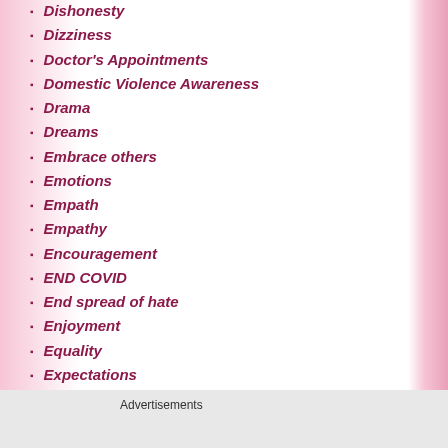Dishonesty
Dizziness
Doctor's Appointments
Domestic Violence Awareness
Drama
Dreams
Embrace others
Emotions
Empath
Empathy
Encouragement
END COVID
End spread of hate
Enjoyment
Equality
Expectations
Family
Fatigue
Advertisements